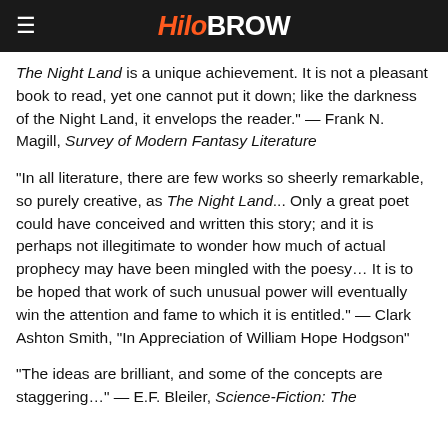HiloBrow
The Night Land is a unique achievement. It is not a pleasant book to read, yet one cannot put it down; like the darkness of the Night Land, it envelops the reader." — Frank N. Magill, Survey of Modern Fantasy Literature
"In all literature, there are few works so sheerly remarkable, so purely creative, as The Night Land... Only a great poet could have conceived and written this story; and it is perhaps not illegitimate to wonder how much of actual prophecy may have been mingled with the poesy... It is to be hoped that work of such unusual power will eventually win the attention and fame to which it is entitled." — Clark Ashton Smith, "In Appreciation of William Hope Hodgson"
"The ideas are brilliant, and some of the concepts are staggering..." — E.F. Bleiler, Science-Fiction: The